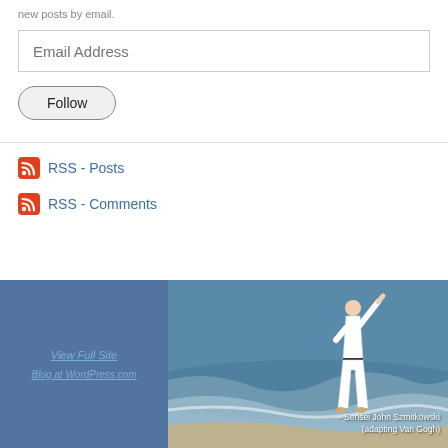new posts by email.
Email Address
Follow
RSS - Posts
RSS - Comments
[Figure (photo): Person in white martial arts gi practicing on a beach with ocean waves, with blue panel on left side. Text overlays: 'View Full Site', 'Blog at WordPress.com', '- Sensei John Szmitkowski (adapting Van Gogh)']